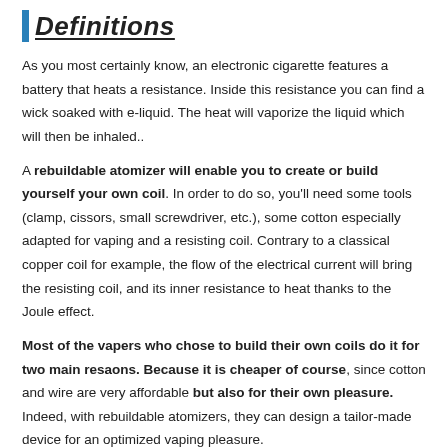Definitions
As you most certainly know, an electronic cigarette features a battery that heats a resistance. Inside this resistance you can find a wick soaked with e-liquid. The heat will vaporize the liquid which will then be inhaled..
A rebuildable atomizer will enable you to create or build yourself your own coil. In order to do so, you'll need some tools (clamp, cissors, small screwdriver, etc.), some cotton especially adapted for vaping and a resisting coil. Contrary to a classical copper coil for example, the flow of the electrical current will bring the resisting coil, and its inner resistance to heat thanks to the Joule effect.
Most of the vapers who chose to build their own coils do it for two main resaons. Because it is cheaper of course, since cotton and wire are very affordable but also for their own pleasure. Indeed, with rebuildable atomizers, they can design a tailor-made device for an optimized vaping pleasure.